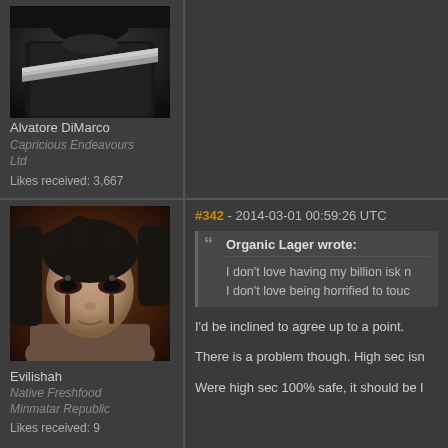[Figure (photo): Avatar image of Alvatore DiMarco showing dark figure with silver/chrome diagonal stripe across chest]
Alvatore DiMarco
Capricious Endeavours Ltd
Likes received: 3,667
#342 - 2014-03-01 00:59:26 UTC
Organic Lager wrote:
I don't love having my billion isk n...
I don't love being horrified to touc...
[Figure (photo): Avatar image of Evilishah - female character with dark hair, pale skin, dramatic eye makeup with dark tear-like markings]
Evilishah
Native Freshfood Minmatar Republic
Likes received: 9
I'd be inclined to agree up to a point.
There is a problem though. High sec isn...
Were high sec 100% safe, it should be l...